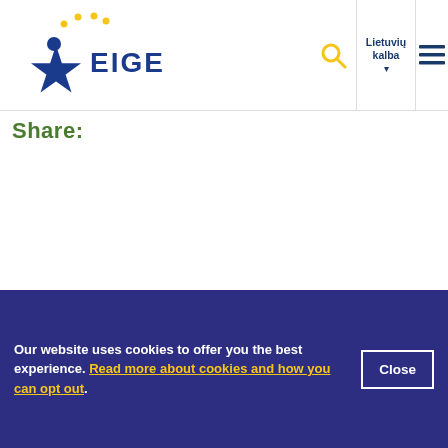[Figure (logo): EIGE (European Institute for Gender Equality) logo with blue star figure and yellow stars]
[Figure (infographic): Navigation bar with search icon (yellow magnifying glass), language selector showing 'Lietuvių kalba' with dropdown arrow, and hamburger menu icon]
Share:
[Figure (logo): European Commission logo with EU flag and 'European Commission' text, accompanied by text 'in cooperation with the']
Our website uses cookies to offer you the best experience. Read more about cookies and how you can opt out.